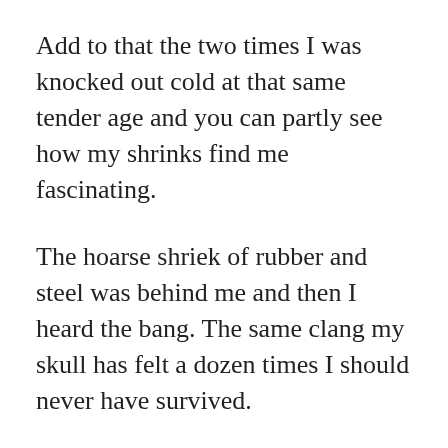Add to that the two times I was knocked out cold at that same tender age and you can partly see how my shrinks find me fascinating.
The hoarse shriek of rubber and steel was behind me and then I heard the bang. The same clang my skull has felt a dozen times I should never have survived.
Why?
I never saw Wayne look scared before. I thought he was invincible. He ate Frosted Flakes for dinner with Sweet Emotion as loud as hell and drank they all...